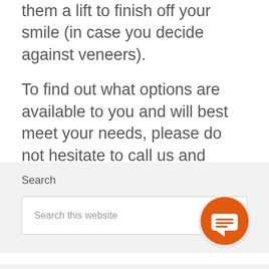them a lift to finish off your smile (in case you decide against veneers).
To find out what options are available to you and will best meet your needs, please do not hesitate to call us and book your free consultation today.
Search
Search this website
[Figure (illustration): Orange circular chat/messaging button with speech bubble icon]